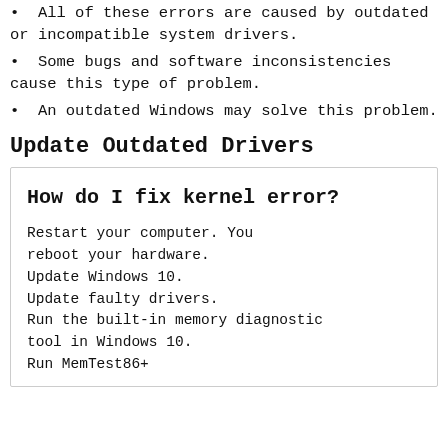All of these errors are caused by outdated or incompatible system drivers.
Some bugs and software inconsistencies cause this type of problem.
An outdated Windows may solve this problem.
Update Outdated Drivers
How do I fix kernel error?
Restart your computer. You reboot your hardware.
Update Windows 10.
Update faulty drivers.
Run the built-in memory diagnostic tool in Windows 10.
Run MemTest86+